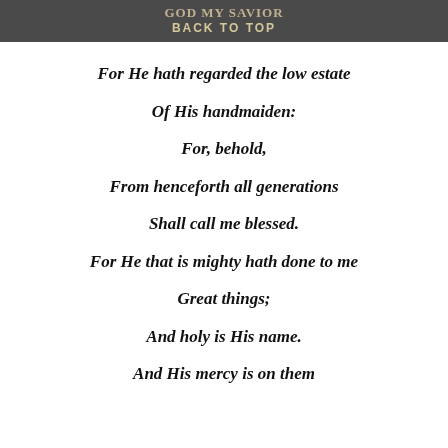GOD MY SAVIOR
BACK TO TOP
For He hath regarded the low estate
Of His handmaiden:
For, behold,
From henceforth all generations
Shall call me blessed.
For He that is mighty hath done to me
Great things;
And holy is His name.
And His mercy is on them